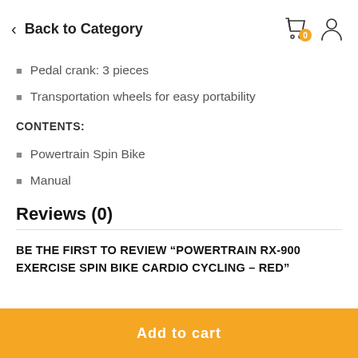Back to Category
Pedal crank: 3 pieces
Transportation wheels for easy portability
CONTENTS:
Powertrain Spin Bike
Manual
Reviews (0)
BE THE FIRST TO REVIEW “POWERTRAIN RX-900 EXERCISE SPIN BIKE CARDIO CYCLING – RED”
Add to cart